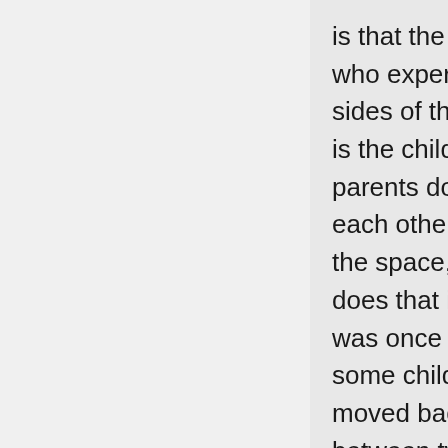is that the only person who experiences both sides of this situation is the child. When parents don't speak to each other to mediate the space, the child does that instead. I was once a nanny to some children who moved back and forth between two parents who didn't speak to each other, even I ended up adapting my behaviours as we moved back and forth so difficult was it to remain my authentic self in the face of expectations of each parent. It is a massive problem for kids and beyond switching comes